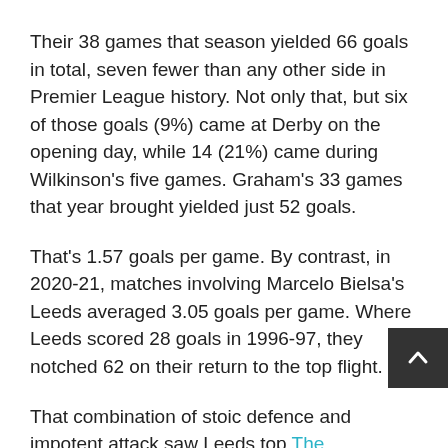Their 38 games that season yielded 66 goals in total, seven fewer than any other side in Premier League history. Not only that, but six of those goals (9%) came at Derby on the opening day, while 14 (21%) came during Wilkinson's five games. Graham's 33 games that year brought yielded just 52 goals.
That's 1.57 goals per game. By contrast, in 2020-21, matches involving Marcelo Bielsa's Leeds averaged 3.05 goals per game. Where Leeds scored 28 goals in 1996-97, they notched 62 on their return to the top flight.
That combination of stoic defence and impotent attack saw Leeds top The Telegraph's list of the most boring Premier League teams in history (ranked by goals per game) – which incredibly featured Graham's teams making up half of the top six.
Graham left Leeds in acrimonious circumstances, returning